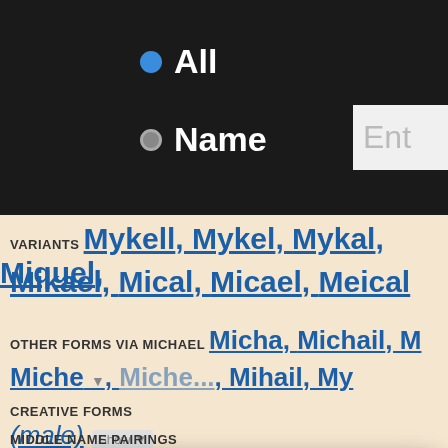[Figure (screenshot): Top dark navigation bar with radio buttons for All and Name, and a partial Entry input box]
VARIANTS Mykell, Mykel, Mykal, Miquel, Mikael, Mical, Micael, Meical
OTHER FORMS VIA MICHAEL Micha, Michail, M... Miche, Miche..., Mihail, Myc...
CREATIVE FORMS (male) Show (female) Show
MIDDLE NAME PAIRINGS
[Figure (screenshot): Cookie consent popup: We use cookies - This website uses cookies to improve user experience. By using our website you consent to all cookies in accordance with our Cookie Policy. Yes I agree | I disagree | Read more | Free cookie consent by cookie-script.com]